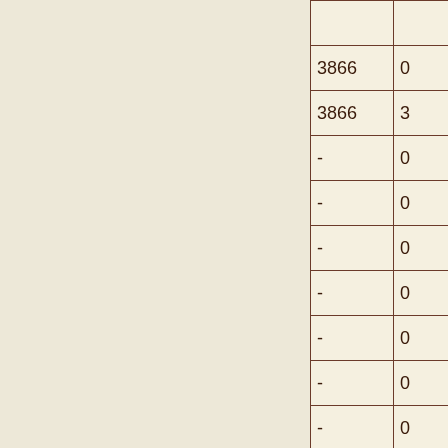| 3866 | 0 |
| 3866 | 3 |
| - | 0 |
| - | 0 |
| - | 0 |
| - | 0 |
| - | 0 |
| - | 0 |
| - | 0 |
| - | 0 |
| - | 0 |
| - | 0 |
| - | 0 |